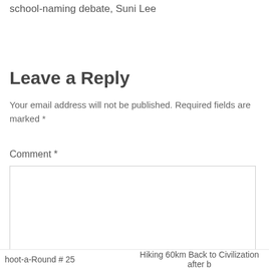school-naming debate, Suni Lee
Leave a Reply
Your email address will not be published. Required fields are marked *
Comment *
hoot-a-Round # 25    Hiking 60km Back to Civilization after b